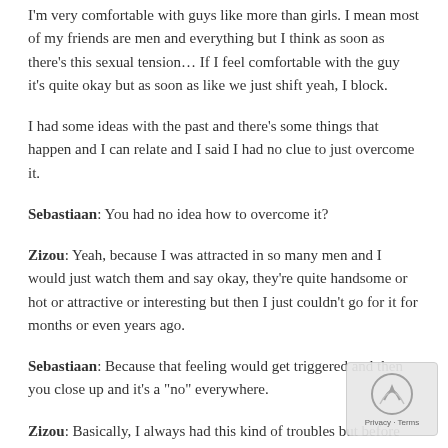I'm very comfortable with guys like more than girls. I mean most of my friends are men and everything but I think as soon as there's this sexual tension… If I feel comfortable with the guy it's quite okay but as soon as like we just shift yeah, I block.
I had some ideas with the past and there's some things that happen and I can relate and I said I had no clue to just overcome it.
Sebastiaan: You had no idea how to overcome it?
Zizou: Yeah, because I was attracted in so many men and I would just watch them and say okay, they're quite handsome or hot or attractive or interesting but then I just couldn't go for it for months or even years ago.
Sebastiaan: Because that feeling would get triggered and then you close up and it's a "no" everywhere.
Zizou: Basically, I always had this kind of troubles but before